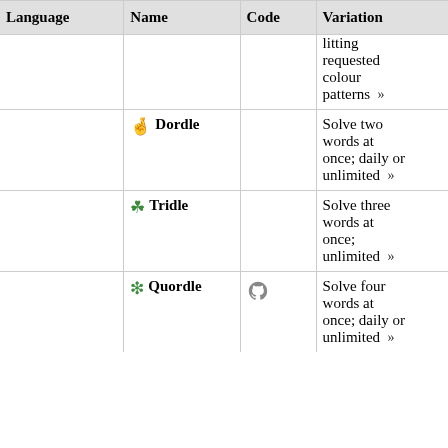| Language | Name | Code | Variation |
| --- | --- | --- | --- |
|  | litting requested colour patterns » |  |  |
|  | 🤞 Dordle |  | Solve two words at once; daily or unlimited » |
|  | ☘ Tridle |  | Solve three words at once; unlimited » |
|  | ❇ Quordle | (github icon) | Solve four words at once; daily or unlimited » |